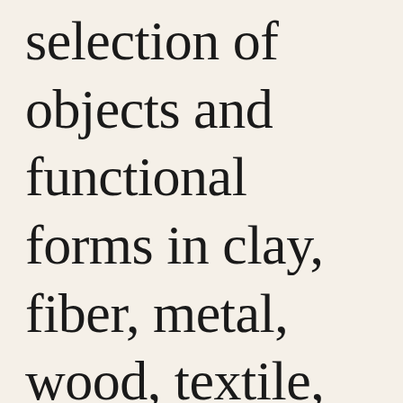selection of objects and functional forms in clay, fiber, metal, wood, textile, and paper.